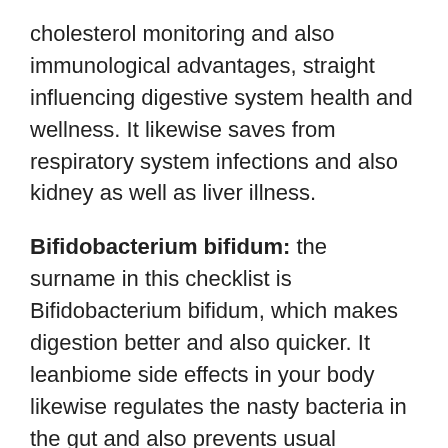cholesterol monitoring and also immunological advantages, straight influencing digestive system health and wellness. It likewise saves from respiratory system infections and also kidney as well as liver illness.
Bifidobacterium bifidum: the surname in this checklist is Bifidobacterium bifidum, which makes digestion better and also quicker. It leanbiome side effects in your body likewise regulates the nasty bacteria in the gut and also prevents usual gastrointestinal issues.
Inulin: This component is prebiotic, which regulates bowel movements and also aids in digestion. Without inulin, problems such as